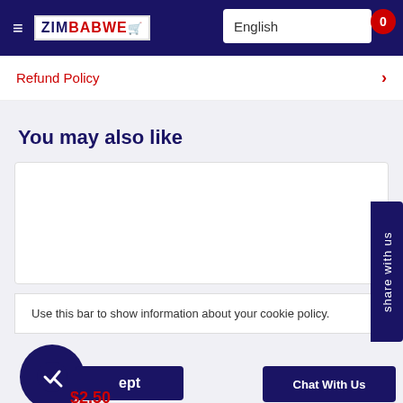ZIMBABWE [cart icon] — English — 0
Refund Policy >
You may also like
[Figure (other): White product card placeholder area]
Use this bar to show information about your cookie policy.
ept (Accept button)
$2.50
share with us
Chat With Us